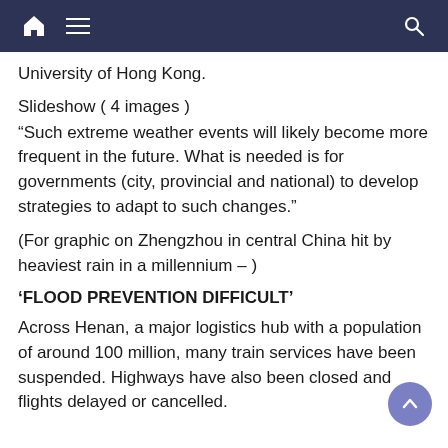Navigation bar with home, menu, and search icons
University of Hong Kong.
Slideshow ( 4 images )
“Such extreme weather events will likely become more frequent in the future. What is needed is for governments (city, provincial and national) to develop strategies to adapt to such changes.”
(For graphic on Zhengzhou in central China hit by heaviest rain in a millennium – )
‘FLOOD PREVENTION DIFFICULT’
Across Henan, a major logistics hub with a population of around 100 million, many train services have been suspended. Highways have also been closed and flights delayed or cancelled.